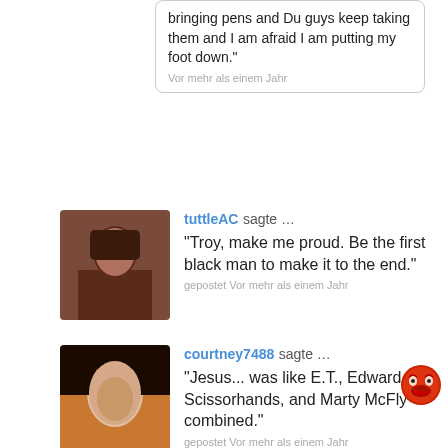bringing pens and Du guys keep taking them and I am afraid I am putting my foot down."
Vor mehr als einem Jahr
tuttleAC sagte …
"Troy, make me proud. Be the first black man to make it to the end."
gepostet Vor mehr als einem Jahr
courtney7488 sagte …
"Jesus... was like E.T., Edward Scissorhands, and Marty McFly combined."
gepostet Vor mehr als einem Jahr
mayra7632000 sagte …
Can't wait for the premiere of Season 2. It's going to be hilarious with Betty White in it!
gepostet Vor mehr als einem Jahr
tuttleAC sagte …